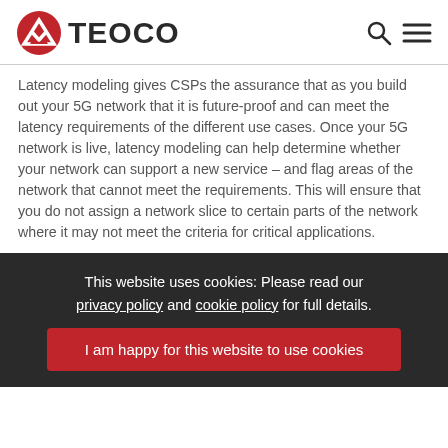TEOCO
Latency modeling gives CSPs the assurance that as you build out your 5G network that it is future-proof and can meet the latency requirements of the different use cases. Once your 5G network is live, latency modeling can help determine whether your network can support a new service – and flag areas of the network that cannot meet the requirements. This will ensure that you do not assign a network slice to certain parts of the network where it may not meet the criteria for critical applications.
This website uses cookies: Please read our privacy policy and cookie policy for full details.
I am happy for this website to use cookies